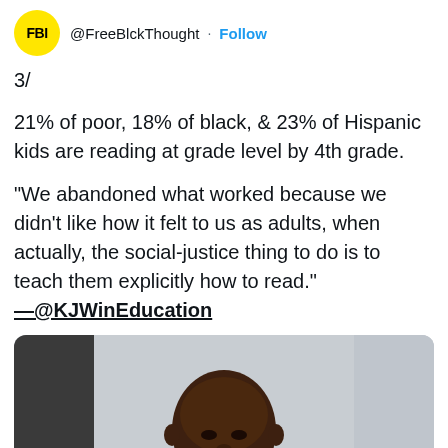@FreeBlckThought · Follow
3/
21% of poor, 18% of black, & 23% of Hispanic kids are reading at grade level by 4th grade.
“We abandoned what worked because we didn’t like how it felt to us as adults, when actually, the social-justice thing to do is to teach them explicitly how to read.” —@KJWinEducation
[Figure (photo): Portrait photo of a man]